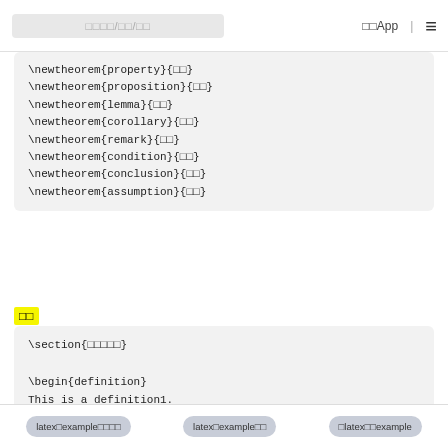□□□□/□□/□□  □□App | ☰
\newtheorem{property}{□□}
\newtheorem{proposition}{□□}
\newtheorem{lemma}{□□}
\newtheorem{corollary}{□□}
\newtheorem{remark}{□□}
\newtheorem{condition}{□□}
\newtheorem{conclusion}{□□}
\newtheorem{assumption}{□□}
□□
\section{□□□□□}

\begin{definition}
This is a definition1.
\end{definition}

\begin{definition}
This is a definition2.
\end{definition}
latex□example□□□□  latex□example□□  □latex□□example